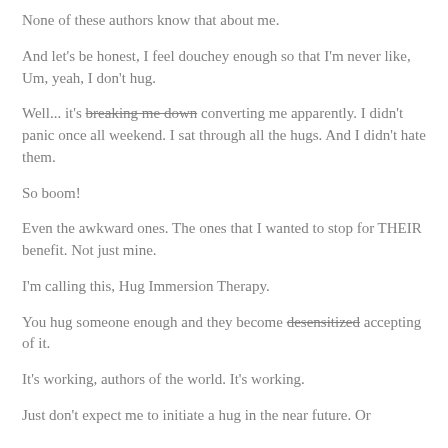None of these authors know that about me.
And let's be honest, I feel douchey enough so that I'm never like, Um, yeah, I don't hug.
Well... it's breaking me down converting me apparently. I didn't panic once all weekend. I sat through all the hugs. And I didn't hate them.
So boom!
Even the awkward ones. The ones that I wanted to stop for THEIR benefit. Not just mine.
I'm calling this, Hug Immersion Therapy.
You hug someone enough and they become desensitized accepting of it.
It's working, authors of the world. It's working.
Just don't expect me to initiate a hug in the near future. Or